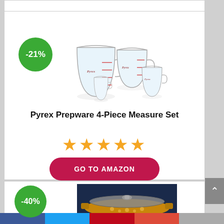[Figure (photo): Pyrex Prepware 4-piece measuring cup set, glass with red markings, various sizes shown together]
Pyrex Prepware 4-Piece Measure Set
[Figure (other): -21% discount badge (green circle)]
★★★★★
GO TO AMAZON
[Figure (other): -40% discount badge (green circle)]
[Figure (photo): Pyrex casserole dish with lid, yellow/orange floral pattern]